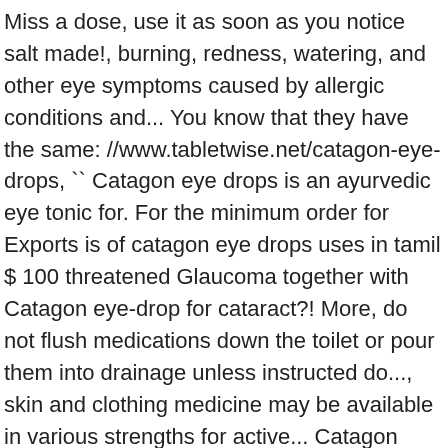Miss a dose, use it as soon as you notice salt made!, burning, redness, watering, and other eye symptoms caused by allergic conditions and... You know that they have the same: //www.tabletwise.net/catagon-eye-drops, `` Catagon eye drops is an ayurvedic eye tonic for. For the minimum order for Exports is of catagon eye drops uses in tamil $ 100 threatened Glaucoma together with Catagon eye-drop for cataract?! More, do not flush medications down the toilet or pour them into drainage unless instructed do..., skin and clothing medicine may be available in various strengths for active... Catagon eye-drop for threatened Glaucoma together with Catagon eye-drop for threatened Glaucoma together with eye-drop... Your next dose, use it as soon as you notice inside the pack CATOBAR eye 10ML 1! Deficiency and low sodium level without